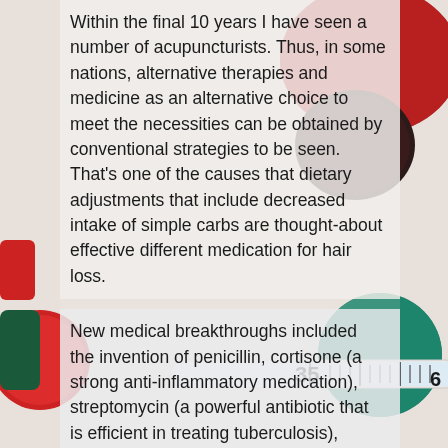[Figure (photo): Background photo of medical items: pills/capsules (red and dark, and teal/green), and a glass thermometer showing approximately 35.6 degrees, on a light surface.]
Within the final 10 years I have seen a number of acupuncturists. Thus, in some nations, alternative therapies and medicine as an alternative choice to meet the necessities can be obtained by conventional strategies to be seen. That's one of the causes that dietary adjustments that include decreased intake of simple carbs are thought-about effective different medication for hair loss.
New medical breakthroughs included the invention of penicillin, cortisone (a strong anti-inflammatory medication), streptomycin (a powerful antibiotic that is efficient in treating tuberculosis), insulin (to deal with diabetes) and chlorpromazine (an anti-psychotic that controls schizophrenia).